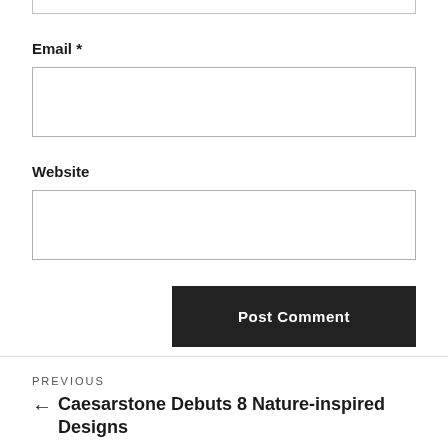Email *
[Figure (other): Empty text input box for Email field]
Website
[Figure (other): Empty text input box for Website field]
Post Comment
PREVIOUS
← Caesarstone Debuts 8 Nature-inspired Designs